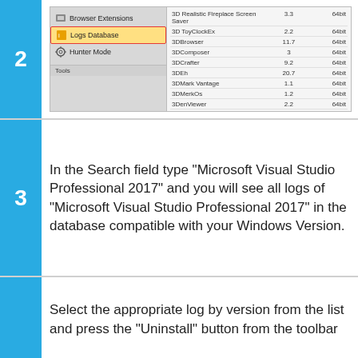[Figure (screenshot): Software logs database interface showing Browser Extensions, Logs Database (highlighted/selected with red border and yellow background), Hunter Mode in left panel; right panel shows list of software entries with version numbers and bit architecture (3D Realistic Fireplace Screen Saver 3.3 64bit, 3D ToyClockEx 2.2 64bit, 3DBrowser 11.7 64bit, 3DComposer 3 64bit, 3DCrafter 9.2 64bit, 3DEh 20.7 64bit, 3DMark Vantage 1.1 64bit, 3DMerkOs 1.2 64bit, 3DenViewer 2.2 64bit). Tools section at bottom.]
3  In the Search field type "Microsoft Visual Studio Professional 2017" and you will see all logs of "Microsoft Visual Studio Professional 2017" in the database compatible with your Windows Version.
Select the appropriate log by version from the list and press the "Uninstall" button from the toolbar